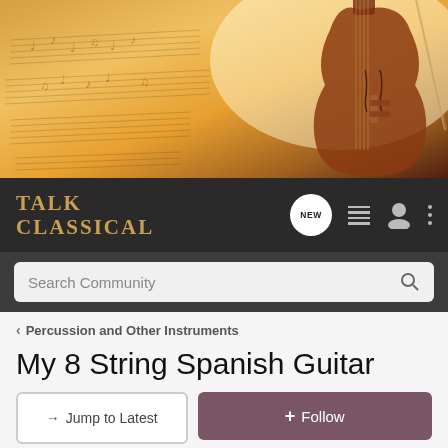[Figure (photo): Banner image showing a violin/cello with sheet music overlay on warm golden-brown background]
TALK CLASSICAL
Search Community
< Percussion and Other Instruments
My 8 String Spanish Guitar
→ Jump to Latest
+ Follow
1 - 16 of 16 Posts
Quaverion · Registered
Joined Jul 20, 2004 · 279 Posts